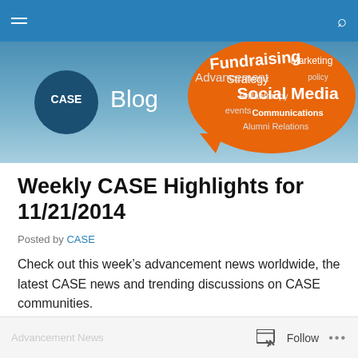CASE Blog navigation bar
[Figure (illustration): CASE Blog banner with CASE logo circle on left, 'Blog' text in white, and an orange speech bubble word cloud on the right containing words: Fundraising, Marketing, Strategy, Advancement, policy, Philanthropy, Social Media, events, Communications, Alumni Relations]
Weekly CASE Highlights for 11/21/2014
Posted by CASE
Check out this week's advancement news worldwide, the latest CASE news and trending discussions on CASE communities.
Follow ...